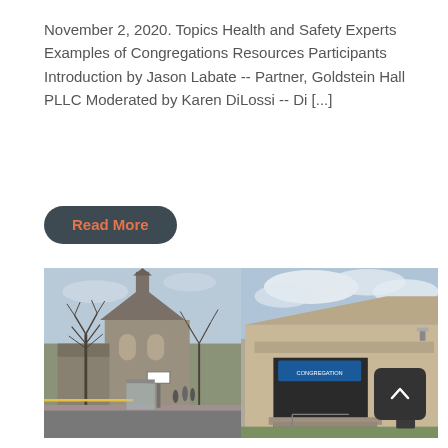November 2, 2020. Topics Health and Safety Experts Examples of Congregations Resources Participants Introduction by Jason Labate -- Partner, Goldstein Hall PLLC Moderated by Karen DiLossi -- Di [...]
Read More
[Figure (photo): Two side-by-side photos of religious congregation buildings. Left: a stone church with bare winter trees and street signs in front. Right: a modern brick building with a covered entrance, blue signage, and a ramp.]